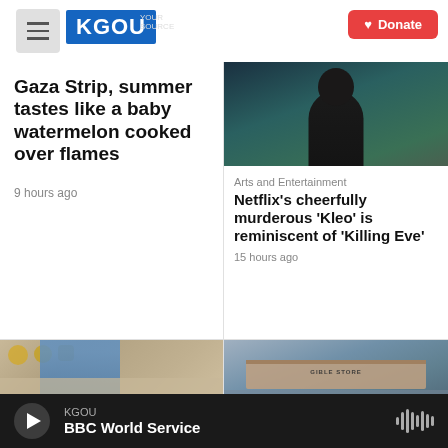KGOU — News Source | Donate
Gaza Strip, summer tastes like a baby watermelon cooked over flames
9 hours ago
[Figure (photo): Dark portrait photo of a person in black clothing against a teal background]
Arts and Entertainment
Netflix's cheerfully murderous 'Kleo' is reminiscent of 'Killing Eve'
15 hours ago
[Figure (photo): Photo of a man in a blue shirt seated in a room with gold records on the wall]
[Figure (photo): Aerial photo of a building with 'GIBLE STORE' text visible on roof]
KGOU — BBC World Service